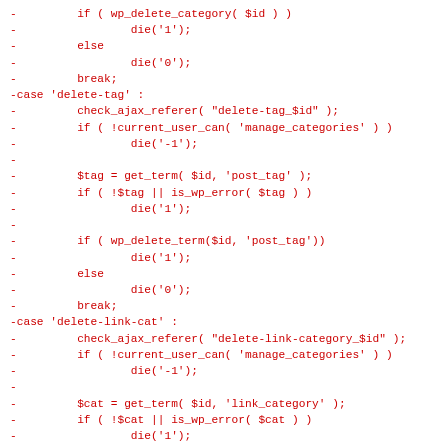[Figure (screenshot): Code diff snippet showing PHP WordPress AJAX handler code for delete-tag and delete-link-cat cases, displayed in red monospace font on white background]